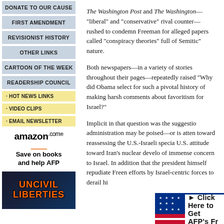DONATE TO OUR CAUSE
FIRST AMENDMENT
REVISIONIST HISTORY
OTHER LINKS
CARTOON OF THE WEEK
READERSHIP COUNCIL
· HOT NEWS LINKS
· VIDEO CLIPS
· EMAIL NEWSLETTER
amazon.com Save on books and help AFP
[Figure (illustration): Uncivil Liberties book/movie cover with orange text on dark blue background]
The Washington Post and The Washington— "liberal" and "conservative" rival counter—rushed to condemn Freeman for alleged papers called "conspiracy theories" full o Semitic" nature.
Both newspapers—in a variety of stories throughout their pages—repeatedly raised "Why did Obama select for such a pivotal history of making harsh comments about favoritism for Israel?"
Implicit in that question was the suggestio administration may be poised—or is atten toward reassessing the U.S.-Israeli specia U.S. attitude toward Iran's nuclear develo of immense concern to Israel. In addition that the president himself repudiate Freen efforts by Israel-centric forces to derail hi
[Figure (infographic): AFP banner with American flag design and text: Click Here to Get AFP's Fr]